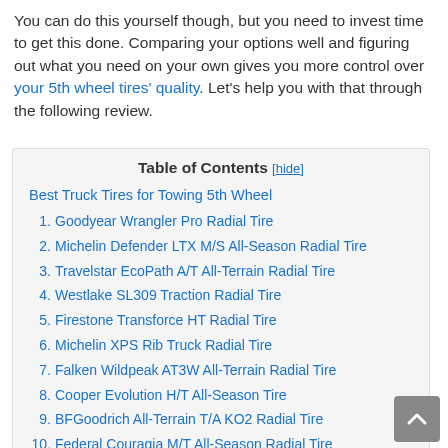You can do this yourself though, but you need to invest time to get this done. Comparing your options well and figuring out what you need on your own gives you more control over your 5th wheel tires' quality. Let's help you with that through the following review.
| Best Truck Tires for Towing 5th Wheel |
| 1. Goodyear Wrangler Pro Radial Tire |
| 2. Michelin Defender LTX M/S All-Season Radial Tire |
| 3. Travelstar EcoPath A/T All-Terrain Radial Tire |
| 4. Westlake SL309 Traction Radial Tire |
| 5. Firestone Transforce HT Radial Tire |
| 6. Michelin XPS Rib Truck Radial Tire |
| 7. Falken Wildpeak AT3W All-Terrain Radial Tire |
| 8. Cooper Evolution H/T All-Season Tire |
| 9. BFGoodrich All-Terrain T/A KO2 Radial Tire |
| 10. Federal Couragia M/T All-Season Radial Tire |
| What Is A Truck Tire For Towing 5th Wheel And How Does It |